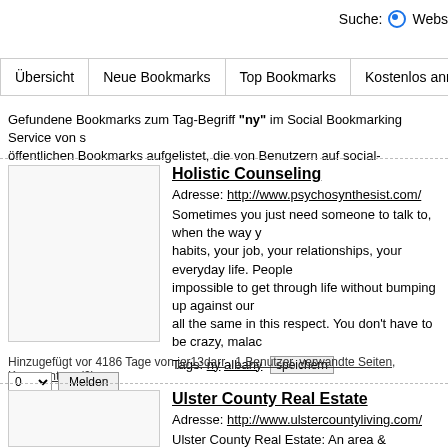Suche: Webs...
Übersicht | Neue Bookmarks | Top Bookmarks | Kostenlos anmelden | Boo...
Gefundene Bookmarks zum Tag-Begriff "ny" im Social Bookmarking Service von s... öffentlichen Bookmarks aufgelistet, die von Benutzern auf social-bookmarking.seek...
Holistic Counseling
Adresse: http://www.psychosynthesist.com/
Sometimes you just need someone to talk to, when the way y... habits, your job, your relationships, your everyday life. People... impossible to get through life without bumping up against our... all the same in this respect. You don't have to be crazy, malad...
Tags: ny albany speichern
Hinzugefügt vor 4186 Tage von jer13darr , 1 Benutzer, verwandte Seiten, Kommentare (0)
Ulster County Real Estate
Adresse: http://www.ulstercountyliving.com/
Ulster County Real Estate: An area & information guide for Ul... Real Estate. Search Ulster County Real Estate listings...